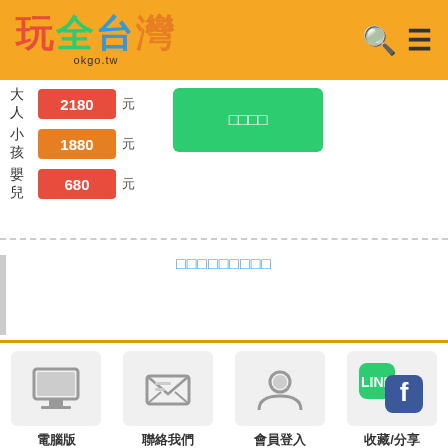[Figure (logo): 玩全台灣 okgo.tw logo with colorful Chinese characters and search/menu icons on orange header]
大人 2180 元
小孩 1880 元
嬰兒 680 元
立即訂購 (green button)
□□□□□□□□□ (link text)
◄ 上一頁 (back button)
[Figure (infographic): Footer with 4 icons: 電腦版 (desktop), 聯絡我們 (email), 會員登入 (person), 收藏/分享 (LINE+Facebook)]
電腦版
聯絡我們
會員登入
收藏/分享